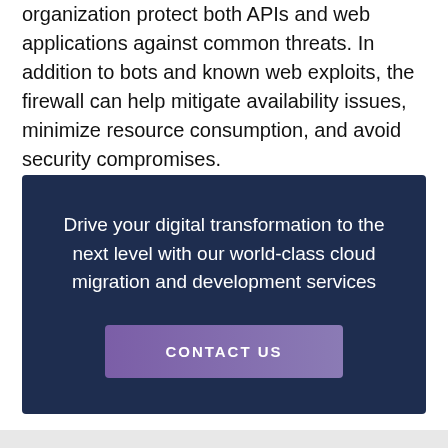organization protect both APIs and web applications against common threats. In addition to bots and known web exploits, the firewall can help mitigate availability issues, minimize resource consumption, and avoid security compromises.
Drive your digital transformation to the next level with our world-class cloud migration and development services
CONTACT US